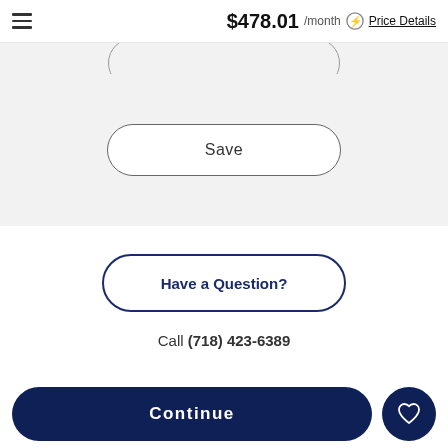$478.01 /month Price Details
Save
Have a Question?
Call (718) 423-6389
Continue